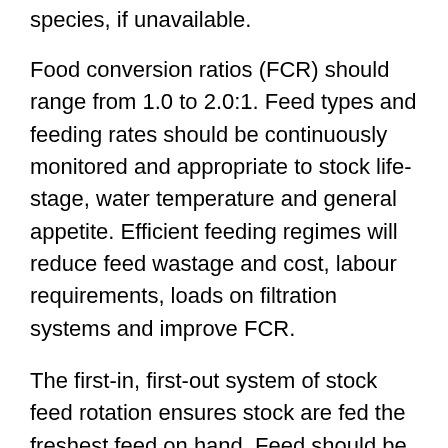species, if unavailable.
Food conversion ratios (FCR) should range from 1.0 to 2.0:1. Feed types and feeding rates should be continuously monitored and appropriate to stock life-stage, water temperature and general appetite. Efficient feeding regimes will reduce feed wastage and cost, labour requirements, loads on filtration systems and improve FCR.
The first-in, first-out system of stock feed rotation ensures stock are fed the freshest feed on hand. Feed should be stored in a cool, dry place that is free of insects and vermin to minimise deterioration and contamination.